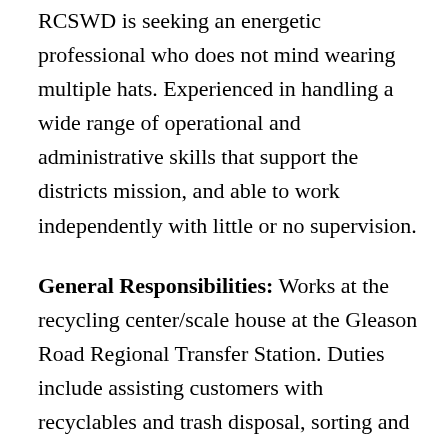RCSWD is seeking an energetic professional who does not mind wearing multiple hats. Experienced in handling a wide range of operational and administrative skills that support the districts mission, and able to work independently with little or no supervision.
General Responsibilities: Works at the recycling center/scale house at the Gleason Road Regional Transfer Station. Duties include assisting customers with recyclables and trash disposal, sorting and aggregating recyclables, assisting with the setting up the drop-off area in the morning and closing it down.
Qualifications: The Transfer Station attendant